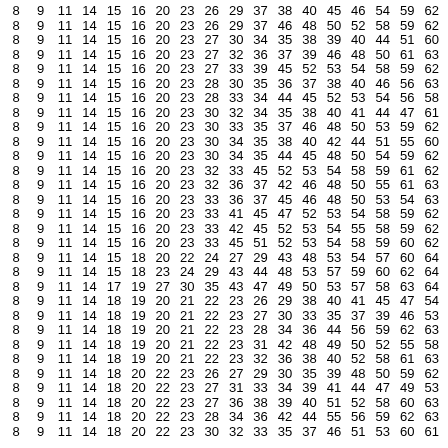| 8 | 9 | 11 | 14 | 15 | 16 | 20 | 23 | 26 | 29 | 37 | 38 | 40 | 45 | 46 | 54 | 59 | 62 |
| 8 | 9 | 11 | 14 | 15 | 16 | 20 | 23 | 26 | 29 | 37 | 46 | 48 | 50 | 52 | 58 | 59 | 62 |
| 8 | 9 | 11 | 14 | 15 | 16 | 20 | 23 | 27 | 30 | 34 | 35 | 38 | 39 | 40 | 44 | 51 | 60 |
| 8 | 9 | 11 | 14 | 15 | 16 | 20 | 23 | 27 | 32 | 36 | 37 | 39 | 46 | 48 | 50 | 61 | 63 |
| 8 | 9 | 11 | 14 | 15 | 16 | 20 | 23 | 27 | 33 | 39 | 45 | 52 | 53 | 54 | 58 | 59 | 62 |
| 8 | 9 | 11 | 14 | 15 | 16 | 20 | 23 | 28 | 30 | 35 | 36 | 37 | 38 | 40 | 46 | 56 | 63 |
| 8 | 9 | 11 | 14 | 15 | 16 | 20 | 23 | 28 | 33 | 34 | 44 | 45 | 52 | 53 | 54 | 56 | 58 |
| 8 | 9 | 11 | 14 | 15 | 16 | 20 | 23 | 30 | 32 | 34 | 35 | 38 | 40 | 41 | 44 | 47 | 61 |
| 8 | 9 | 11 | 14 | 15 | 16 | 20 | 23 | 30 | 33 | 35 | 37 | 46 | 48 | 50 | 53 | 59 | 62 |
| 8 | 9 | 11 | 14 | 15 | 16 | 20 | 23 | 30 | 34 | 35 | 38 | 40 | 42 | 44 | 51 | 55 | 60 |
| 8 | 9 | 11 | 14 | 15 | 16 | 20 | 23 | 30 | 34 | 35 | 44 | 45 | 48 | 50 | 54 | 59 | 62 |
| 8 | 9 | 11 | 14 | 15 | 16 | 20 | 23 | 32 | 33 | 45 | 52 | 53 | 54 | 58 | 59 | 61 | 62 |
| 8 | 9 | 11 | 14 | 15 | 16 | 20 | 23 | 32 | 36 | 37 | 42 | 46 | 48 | 50 | 55 | 61 | 63 |
| 8 | 9 | 11 | 14 | 15 | 16 | 20 | 23 | 33 | 36 | 37 | 45 | 46 | 48 | 50 | 53 | 54 | 63 |
| 8 | 9 | 11 | 14 | 15 | 16 | 20 | 23 | 33 | 41 | 45 | 47 | 52 | 53 | 54 | 58 | 59 | 62 |
| 8 | 9 | 11 | 14 | 15 | 16 | 20 | 23 | 33 | 42 | 45 | 52 | 53 | 54 | 55 | 58 | 59 | 62 |
| 8 | 9 | 11 | 14 | 15 | 16 | 20 | 23 | 33 | 45 | 51 | 52 | 53 | 54 | 58 | 59 | 60 | 62 |
| 8 | 9 | 11 | 14 | 15 | 18 | 20 | 22 | 24 | 27 | 29 | 43 | 48 | 53 | 54 | 57 | 60 | 64 |
| 8 | 9 | 11 | 14 | 15 | 18 | 23 | 24 | 29 | 43 | 44 | 48 | 53 | 57 | 59 | 60 | 62 | 64 |
| 8 | 9 | 11 | 14 | 17 | 19 | 27 | 30 | 35 | 43 | 47 | 49 | 50 | 53 | 57 | 58 | 63 | 64 |
| 8 | 9 | 11 | 14 | 18 | 19 | 20 | 21 | 22 | 23 | 26 | 29 | 38 | 40 | 41 | 45 | 47 | 54 |
| 8 | 9 | 11 | 14 | 18 | 19 | 20 | 21 | 22 | 23 | 27 | 30 | 33 | 35 | 37 | 39 | 46 | 53 |
| 8 | 9 | 11 | 14 | 18 | 19 | 20 | 21 | 22 | 23 | 28 | 34 | 36 | 44 | 56 | 59 | 62 | 63 |
| 8 | 9 | 11 | 14 | 18 | 19 | 20 | 21 | 22 | 23 | 31 | 42 | 48 | 49 | 50 | 52 | 55 | 58 |
| 8 | 9 | 11 | 14 | 18 | 19 | 20 | 21 | 22 | 23 | 32 | 36 | 38 | 40 | 52 | 58 | 61 | 63 |
| 8 | 9 | 11 | 14 | 18 | 20 | 22 | 23 | 26 | 27 | 29 | 30 | 35 | 39 | 48 | 50 | 59 | 62 |
| 8 | 9 | 11 | 14 | 18 | 20 | 22 | 23 | 27 | 31 | 33 | 34 | 39 | 41 | 44 | 47 | 49 | 53 |
| 8 | 9 | 11 | 14 | 18 | 20 | 22 | 23 | 27 | 36 | 38 | 39 | 40 | 51 | 52 | 58 | 60 | 63 |
| 8 | 9 | 11 | 14 | 18 | 20 | 22 | 23 | 28 | 34 | 36 | 42 | 44 | 55 | 56 | 59 | 62 | 63 |
| 8 | 9 | 11 | 14 | 18 | 20 | 22 | 23 | 30 | 32 | 33 | 35 | 37 | 46 | 51 | 53 | 60 | 61 |